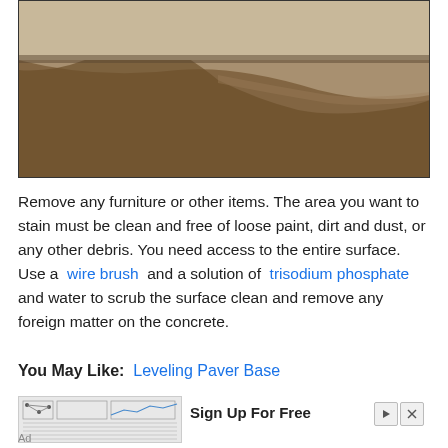[Figure (photo): Photo of a concrete floor being stained, showing wet reddish-brown stain spreading across a concrete surface with a wall visible in the background.]
Remove any furniture or other items. The area you want to stain must be clean and free of loose paint, dirt and dust, or any other debris. You need access to the entire surface. Use a wire brush and a solution of trisodium phosphate and water to scrub the surface clean and remove any foreign matter on the concrete.
You May Like: Leveling Paver Base
[Figure (screenshot): Advertisement image showing an engineering or technical diagram with charts and tables.]
Sign Up For Free
Ad